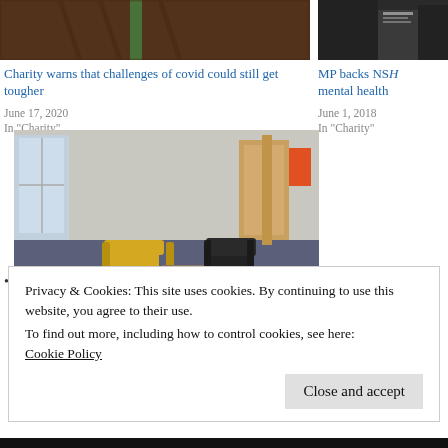[Figure (photo): Partial view of a person wearing a brown jacket and green lanyard, cropped to show torso only]
Charity warns that challenges of covid could still get tougher
June 17, 2020
In "Charity"
[Figure (photo): Partial view of a person in dark clothing, cropped right side]
MP backs NSH mental health
June 1, 2018
In "Charity"
[Figure (photo): Interior of a mental health or community waiting room with yellow armchair, black chair, table, green curved sofas, and blue carpet]
Privacy & Cookies: This site uses cookies. By continuing to use this website, you agree to their use.
To find out more, including how to control cookies, see here:
Cookie Policy
Close and accept